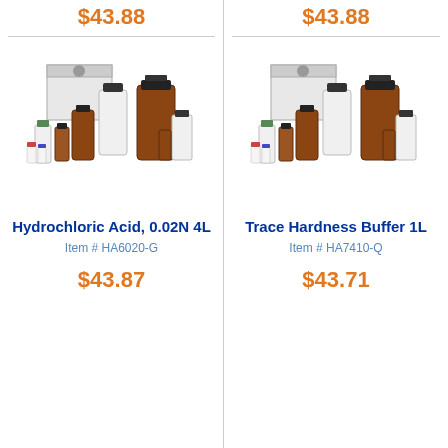$43.88
$43.88
[Figure (photo): Collection of laboratory chemical bottles in various sizes, amber and white plastic, with a white box, arranged together.]
[Figure (photo): Collection of laboratory chemical bottles in various sizes, amber and white plastic, with a white box, arranged together.]
Hydrochloric Acid, 0.02N 4L
Item # HA6020-G
$43.87
Trace Hardness Buffer 1L
Item # HA7410-Q
$43.71